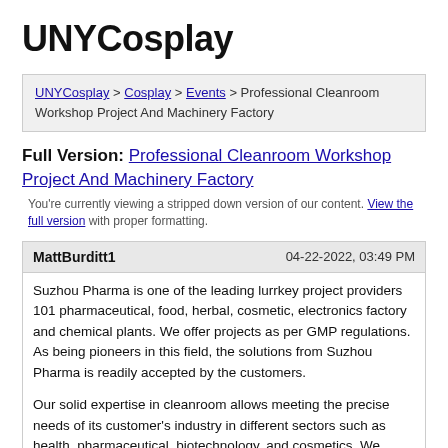UNYCosplay
UNYCosplay > Cosplay > Events > Professional Cleanroom Workshop Project And Machinery Factory
Full Version: Professional Cleanroom Workshop Project And Machinery Factory
You're currently viewing a stripped down version of our content. View the full version with proper formatting.
MattBurditt1    04-22-2022, 03:49 PM
Suzhou Pharma is one of the leading lurrkey project providers 101 pharmaceutical, food, herbal, cosmetic, electronics factory and chemical plants. We offer projects as per GMP regulations. As being pioneers in this field, the solutions from Suzhou Pharma is readily accepted by the customers.
Our solid expertise in cleanroom allows meeting the precise needs of its customer's industry in different sectors such as health, pharmaceutical, biotechnology, and cosmetics. We firmly believe in the principle of quality by design. With our vast experience in handing national and international Pharma/Laboratory Projects.we ensure that professional